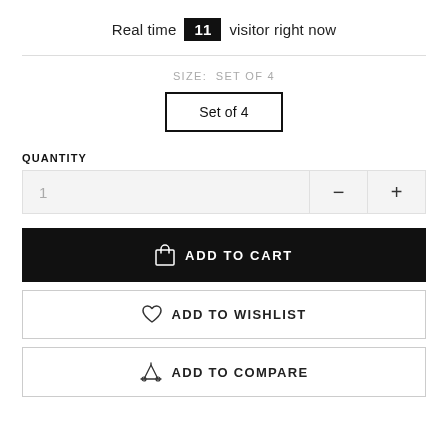Real time 11 visitor right now
SIZE:  SET OF 4
Set of 4
QUANTITY
1
ADD TO CART
ADD TO WISHLIST
ADD TO COMPARE